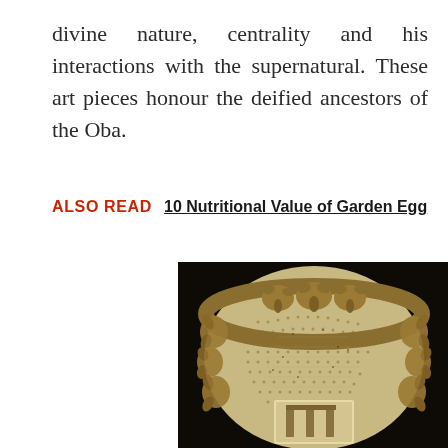divine nature, centrality and his interactions with the supernatural. These art pieces honour the deified ancestors of the Oba.
ALSO READ  10 Nutritional Value of Garden Egg
[Figure (photo): Close-up photograph of an ornate Benin bronze/ivory artifact showing elaborate carved decorations with elephant motifs and dotted texture patterns on a dark background]